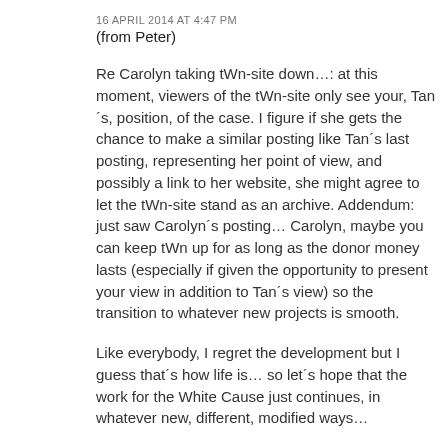16 APRIL 2014 AT 4:47 PM
(from Peter)
Re Carolyn taking tWn-site down…: at this moment, viewers of the tWn-site only see your, Tan´s, position, of the case. I figure if she gets the chance to make a similar posting like Tan´s last posting, representing her point of view, and possibly a link to her website, she might agree to let the tWn-site stand as an archive. Addendum: just saw Carolyn´s posting… Carolyn, maybe you can keep tWn up for as long as the donor money lasts (especially if given the opportunity to present your view in addition to Tan´s view) so the transition to whatever new projects is smooth.
Like everybody, I regret the development but I guess that´s how life is… so let´s hope that the work for the White Cause just continues, in whatever new, different, modified ways…